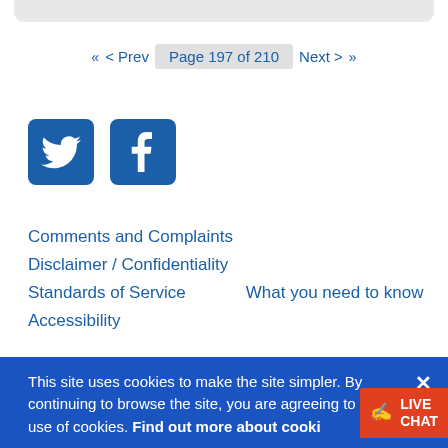Page 197 of 210
[Figure (logo): Twitter and Facebook social media icons (white bird and F on blue square backgrounds)]
Comments and Complaints
Disclaimer / Confidentiality
Standards of Service
What you need to know
Accessibility
This site uses cookies to make the site simpler. By continuing to browse the site, you are agreeing to our use of cookies. Find out more about cookies